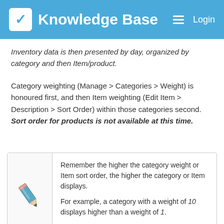Knowledge Base  Login
Inventory data is then presented by day, organized by category and then Item/product.
Category weighting (Manage > Categories > Weight) is honoured first, and then Item weighting (Edit Item > Description > Sort Order) within those categories second. Sort order for products is not available at this time.
Remember the higher the category weight or Item sort order, the higher the category or Item displays.

For example, a category with a weight of 10 displays higher than a weight of 1.

Sort order for products is not available
[Figure (illustration): Pencil icon illustration]